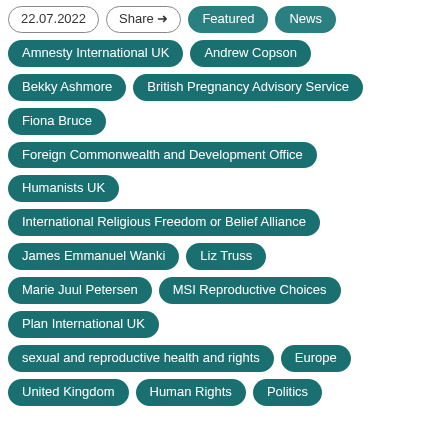22.07.2022
Share
Featured
News
Amnesty International UK
Andrew Copson
Bekky Ashmore
British Pregnancy Advisory Service
Fiona Bruce
Foreign Commonwealth and Development Office
Humanists UK
International Religious Freedom or Belief Alliance
James Emmanuel Wanki
Liz Truss
Marie Juul Petersen
MSI Reproductive Choices
Plan International UK
sexual and reproductive health and rights
Europe
United Kingdom
Human Rights
Politics